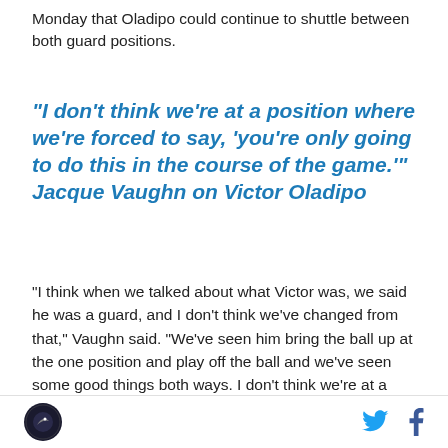Monday that Oladipo could continue to shuttle between both guard positions.
"I don't think we're at a position where we're forced to say, 'you're only going to do this in the course of the game.'" Jacque Vaughn on Victor Oladipo
"I think when we talked about what Victor was, we said he was a guard, and I don't think we've changed from that," Vaughn said. "We've seen him bring the ball up at the one position and play off the ball and we've seen some good things both ways. I don't think we're at a position where we're forced to say, 'you're only going to do this in the course of the game.' I don't think as an